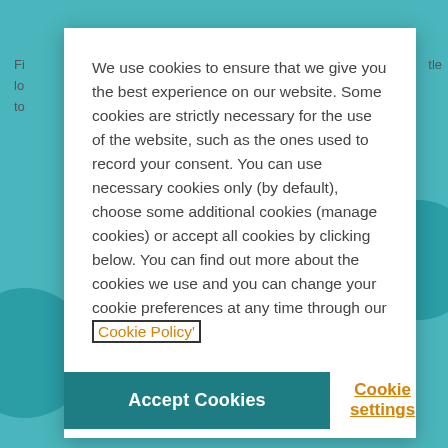We use cookies to ensure that we give you the best experience on our website. Some cookies are strictly necessary for the use of the website, such as the ones used to record your consent. You can use necessary cookies only (by default), choose some additional cookies (manage cookies) or accept all cookies by clicking below. You can find out more about the cookies we use and you can change your cookie preferences at any time through our Cookie Policy'
Accept Cookies
Cookie settings